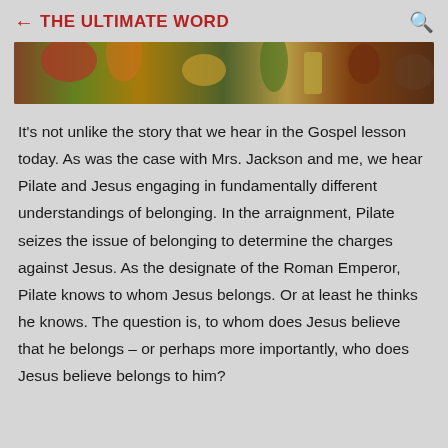← THE ULTIMATE WORD
[Figure (photo): Partial view of a religious or classical painting showing figures, a golden vessel, and earthy/natural tones.]
It's not unlike the story that we hear in the Gospel lesson today. As was the case with Mrs. Jackson and me, we hear Pilate and Jesus engaging in fundamentally different understandings of belonging. In the arraignment, Pilate seizes the issue of belonging to determine the charges against Jesus. As the designate of the Roman Emperor, Pilate knows to whom Jesus belongs. Or at least he thinks he knows. The question is, to whom does Jesus believe that he belongs – or perhaps more importantly, who does Jesus believe belongs to him?